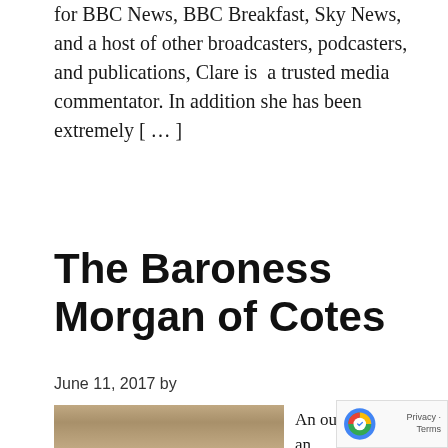for BBC News, BBC Breakfast, Sky News, and a host of other broadcasters, podcasters, and publications, Clare is a trusted media commentator. In addition she has been extremely [...]
The Baroness Morgan of Cotes
June 11, 2017 by
[Figure (photo): Portrait photo of The Baroness Morgan of Cotes, showing her face and hair from front angle]
An outstanding an powerful speaker ...